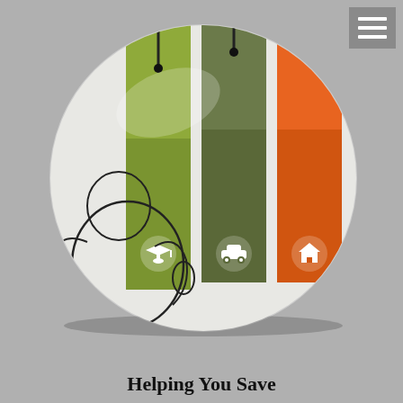[Figure (illustration): A circular illustration showing a piggy bank or figure lying down, with three vertical colored banners hanging from the top inside the circle. The left banner is olive/yellow-green with a graduation cap icon, the middle banner is dark olive/gray-green with a car icon, and the right banner is orange with a house icon. The overall image evokes saving for education, auto, and home.]
Helping You Save